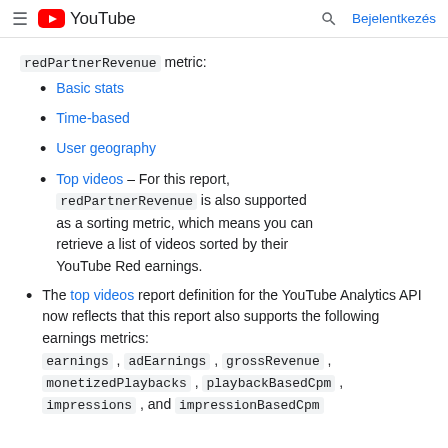YouTube — Bejelentkezés
redPartnerRevenue metric:
Basic stats
Time-based
User geography
Top videos – For this report, redPartnerRevenue is also supported as a sorting metric, which means you can retrieve a list of videos sorted by their YouTube Red earnings.
The top videos report definition for the YouTube Analytics API now reflects that this report also supports the following earnings metrics: earnings , adEarnings , grossRevenue , monetizedPlaybacks , playbackBasedCpm , impressions , and impressionBasedCpm